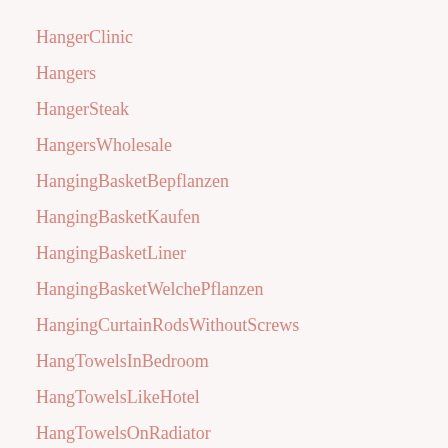HangerClinic
Hangers
HangerSteak
HangersWholesale
HangingBasketBepflanzen
HangingBasketKaufen
HangingBasketLiner
HangingBasketWelchePflanzen
HangingCurtainRodsWithoutScrews
HangTowelsInBedroom
HangTowelsLikeHotel
HangTowelsOnRadiator
Hanukkah
Hardware